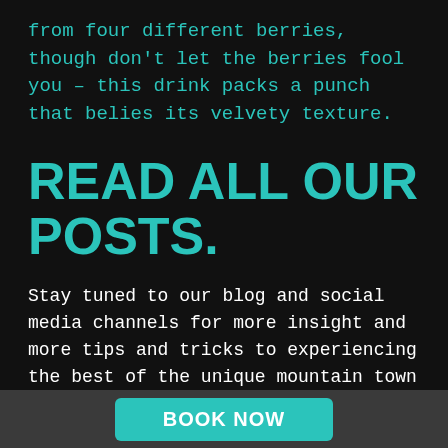from four different berries, though don't let the berries fool you – this drink packs a punch that belies its velvety texture.
READ ALL OUR POSTS.
Stay tuned to our blog and social media channels for more insight and more tips and tricks to experiencing the best of the unique mountain town of Whistler on a budget.
Sign up for our Newsletter
BOOK NOW